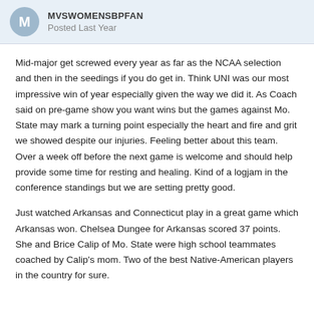MVSWOMENSBPFAN
Posted Last Year
Mid-major get screwed every year as far as the NCAA selection and then in the seedings if you do get in.  Think UNI was our most impressive win of year especially given the way we did it. As Coach said on pre-game show you want wins but the games against Mo. State may mark a turning point especially the heart and fire and grit we showed despite our injuries.  Feeling better about this team.  Over a week off before the next game is welcome and should help provide some time for resting and healing.    Kind of a logjam in the conference standings but we are setting pretty good.
Just watched Arkansas and Connecticut play in a great game which Arkansas won.  Chelsea Dungee for Arkansas scored 37 points.  She and Brice Calip of Mo. State were high school teammates coached by Calip's mom.  Two of the best Native-American players in the country for sure.